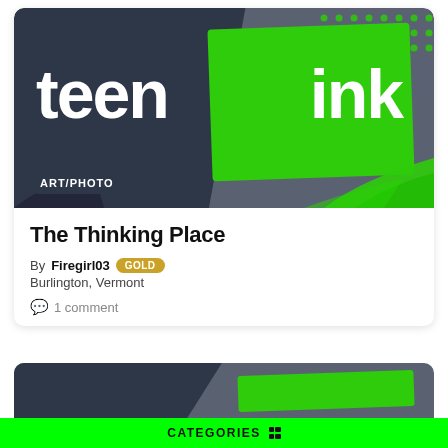[Figure (logo): Teen Ink magazine logo banner with dark navy background on left showing 'teen' in white bold text, and bright green rectangle on right showing 'ink' in white bold text, with green dot above the 'i'. Decorative green dot pattern and brush strokes in background. Badge reading 'ART/PHOTO' at bottom left.]
The Thinking Place
By Firegirl03 GOLD
Burlington, Vermont
1 comment
[Figure (screenshot): Partial view of another Teen Ink card below, showing the same dark navy and gray background style with a green stripe, cropped at top.]
CATEGORIES